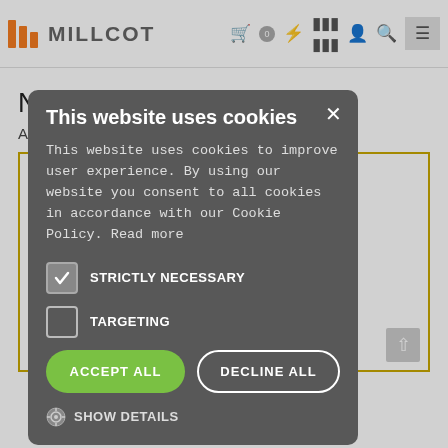MILLCOT
Nails/Pins/Clout nails
A range of nails, pins and clout nails.
[Figure (screenshot): Cookie consent modal overlay on Millcot website with title 'This website uses cookies', body text about cookie policy, checkboxes for STRICTLY NECESSARY (checked) and TARGETING (unchecked), ACCEPT ALL and DECLINE ALL buttons, and SHOW DETAILS link]
Veneer Pins